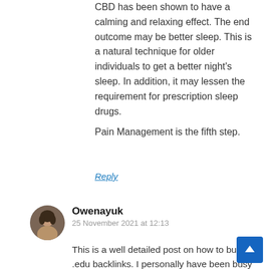CBD has been shown to have a calming and relaxing effect. The end outcome may be better sleep. This is a natural technique for older individuals to get a better night's sleep. In addition, it may lessen the requirement for prescription sleep drugs.
Pain Management is the fifth step.
Reply
Owenayuk
25 November 2021 at 12:13
This is a well detailed post on how to build .edu backlinks. I personally have been busy with https://www.copytheweb.com trying to build blog backlinks. Your blog has all the knowledge I need to build my blog seo. Keep up the good work.
Reply